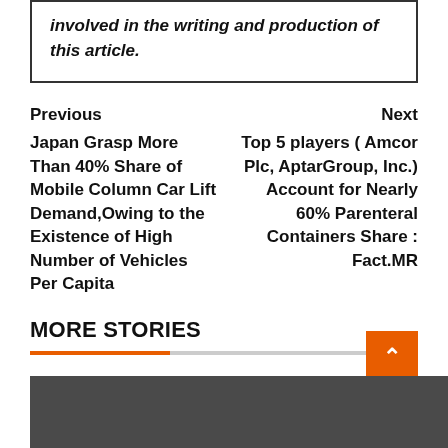involved in the writing and production of this article.
Previous
Next
Japan Grasp More Than 40% Share of Mobile Column Car Lift Demand,Owing to the Existence of High Number of Vehicles Per Capita
Top 5 players ( Amcor Plc, AptarGroup, Inc.) Account for Nearly 60% Parenteral Containers Share : Fact.MR
MORE STORIES
[Figure (other): Dark gray image bar at bottom of page with orange scroll-to-top button]